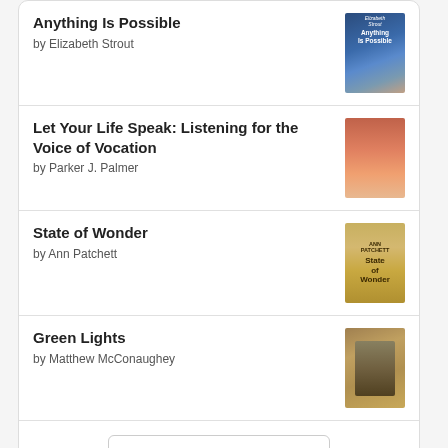Anything Is Possible by Elizabeth Strout
Let Your Life Speak: Listening for the Voice of Vocation by Parker J. Palmer
State of Wonder by Ann Patchett
Green Lights by Matthew McConaughey
[Figure (logo): Goodreads logo inside a rounded rectangle button]